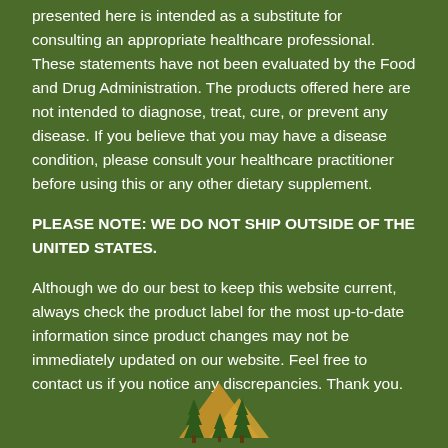presented here is intended as a substitute for consulting an appropriate healthcare professional. These statements have not been evaluated by the Food and Drug Administration. The products offered here are not intended to diagnose, treat, cure, or prevent any disease. If you believe that you may have a disease condition, please consult your healthcare practitioner before using this or any other dietary supplement.
PLEASE NOTE: WE DO NOT SHIP OUTSIDE OF THE UNITED STATES.
Although we do our best to keep this website current, always check the product label for the most up-to-date information since product changes may not be immediately updated on our website. Feel free to contact us if you notice any discrepancies. Thank you.
[Figure (logo): A nature-themed logo with pine trees and mountain silhouette in gold/orange tones at the bottom center of the page]